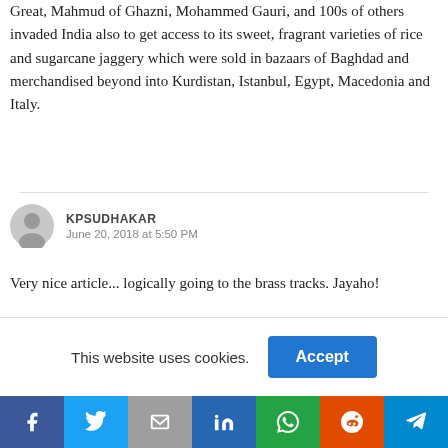Great, Mahmud of Ghazni, Mohammed Gauri, and 100s of others invaded India also to get access to its sweet, fragrant varieties of rice and sugarcane jaggery which were sold in bazaars of Baghdad and merchandised beyond into Kurdistan, Istanbul, Egypt, Macedonia and Italy.
KPSUDHAKAR
June 20, 2018 at 5:50 PM
Very nice article... logically going to the brass tracks. Jayaho!
Arrenuk
June 20, 2018 at 4:13 AM
Would be great if the term ARYA was used instead of the colonial Christian European term of ARYAN. Also would be even greater
This website uses cookies.
[Figure (infographic): Social share bar with Facebook, Twitter, Gmail, LinkedIn, WhatsApp, Reddit, and Telegram icons]